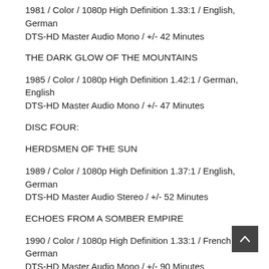1981 / Color / 1080p High Definition 1.33:1 / English, German
DTS-HD Master Audio Mono / +/- 42 Minutes
THE DARK GLOW OF THE MOUNTAINS
1985 / Color / 1080p High Definition 1.42:1 / German, English
DTS-HD Master Audio Mono / +/- 47 Minutes
DISC FOUR:
HERDSMEN OF THE SUN
1989 / Color / 1080p High Definition 1.37:1 / English, German
DTS-HD Master Audio Stereo / +/- 52 Minutes
ECHOES FROM A SOMBER EMPIRE
1990 / Color / 1080p High Definition 1.33:1 / French, German
DTS-HD Master Audio Mono / +/- 90 Minutes
DISC FIVE:
WHEEL OF TIME